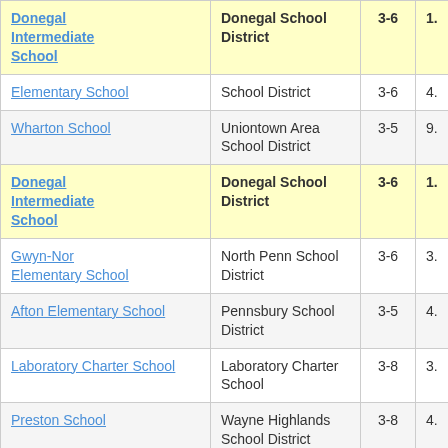| School | District | Grades |  |
| --- | --- | --- | --- |
| Donegal Intermediate School | Donegal School District | 3-6 | 1. |
| [...] Elementary School | School District | 3-6 | 4. |
| Wharton School | Uniontown Area School District | 3-5 | 9. |
| Donegal Intermediate School | Donegal School District | 3-6 | 1. |
| Gwyn-Nor Elementary School | North Penn School District | 3-6 | 3. |
| Afton Elementary School | Pennsbury School District | 3-5 | 4. |
| Laboratory Charter School | Laboratory Charter School | 3-8 | 3. |
| Preston School | Wayne Highlands School District | 3-8 | 4. |